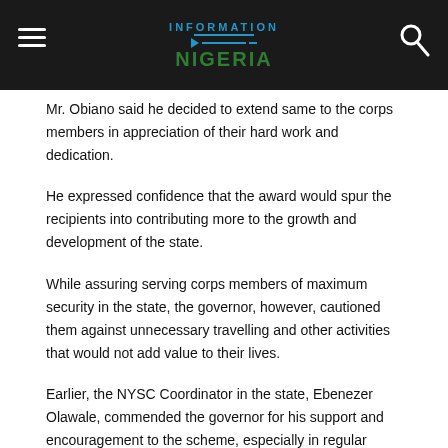Information Nigeria
Mr. Obiano said he decided to extend same to the corps members in appreciation of their hard work and dedication.
He expressed confidence that the award would spur the recipients into contributing more to the growth and development of the state.
While assuring serving corps members of maximum security in the state, the governor, however, cautioned them against unnecessary travelling and other activities that would not add value to their lives.
Earlier, the NYSC Coordinator in the state, Ebenezer Olawale, commended the governor for his support and encouragement to the scheme, especially in regular payment of allowances to corps members.